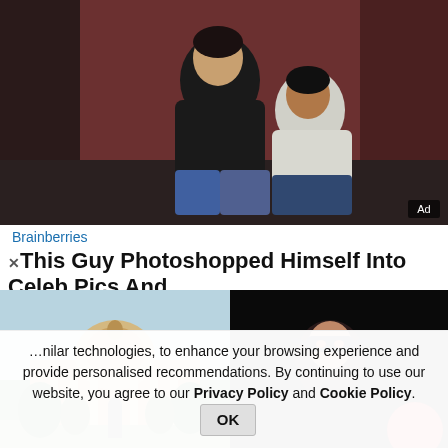[Figure (photo): Two men sitting against a wall, one leaning on the other, styled fashion/editorial photo. An 'Ad' badge is in the bottom right corner.]
Brainberries
This Guy Photoshopped Himself Into Celeb Pics And
[Figure (photo): Photo of the Supreme Court of India building with a dome and statues in front.]
[Figure (photo): Dark image showing a person wearing a mask.]
nilar technologies, to enhance your browsing experience and provide personalised recommendations. By continuing to use our website, you agree to our Privacy Policy and Cookie Policy.